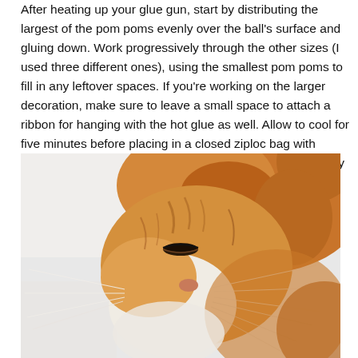After heating up your glue gun, start by distributing the largest of the pom poms evenly over the ball's surface and gluing down. Work progressively through the other sizes (I used three different ones), using the smallest pom poms to fill in any leftover spaces. If you're working on the larger decoration, make sure to leave a small space to attach a ribbon for hanging with the hot glue as well. Allow to cool for five minutes before placing in a closed ziploc bag with catnip for a few hours. Your own ornament should be ready to hang after those five minutes as well.
[Figure (photo): Close-up photograph of an orange tabby cat's face, showing the cat with eyes slightly closed, white whiskers fanned out, and fluffy orange and white fur. The background is white/light.]